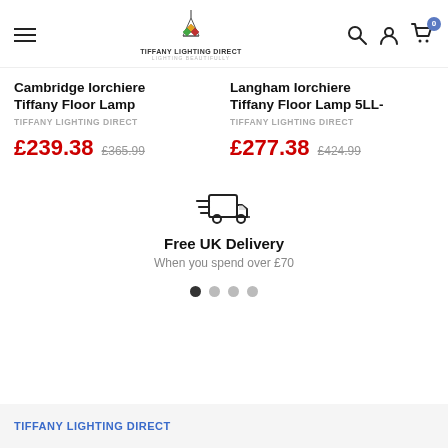Tiffany Lighting Direct - Lighting Beautifully - Navigation bar
Cambridge Iorchiere Tiffany Floor Lamp
TIFFANY LIGHTING DIRECT
£239.38  £365.99
Langham Iorchiere Tiffany Floor Lamp 5LL-
TIFFANY LIGHTING DIRECT
£277.38  £424.99
[Figure (illustration): Fast delivery truck icon with speed lines]
Free UK Delivery
When you spend over £70
Carousel dots - 4 dots, first active
TIFFANY LIGHTING DIRECT